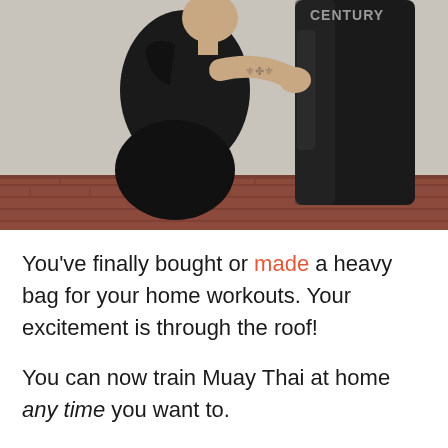[Figure (photo): A man wearing a black sleeveless shirt with tattoos on his arm punches a large black Century brand heavy bag outdoors against a white wall with a brick floor.]
You've finally bought or made a heavy bag for your home workouts. Your excitement is through the roof!
You can now train Muay Thai at home any time you want to.